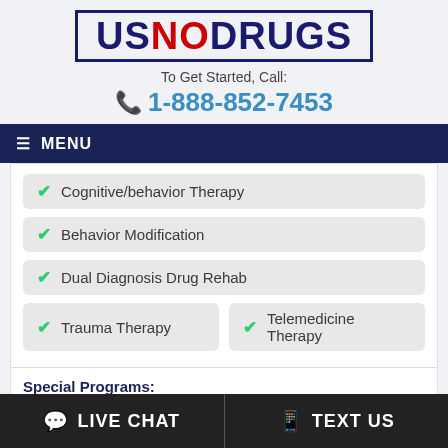USNODRUGS
To Get Started, Call:
1-888-852-7453
≡ MENU
Cognitive/behavior Therapy
Behavior Modification
Dual Diagnosis Drug Rehab
Trauma Therapy
Telemedicine Therapy
Special Programs:
LIVE CHAT   TEXT US